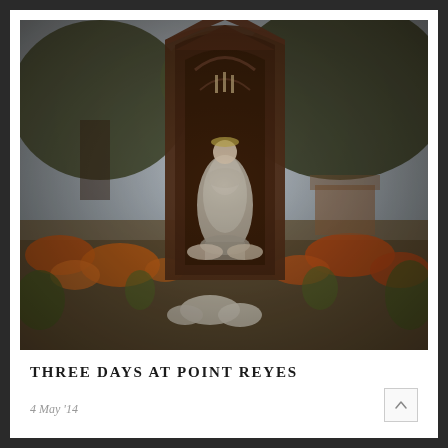[Figure (photo): Photograph of a religious statue of the Virgin Mary housed in a tall wooden Gothic-arch shaped shrine/case, surrounded by orange and red wildflowers in a garden setting with trees in the background. Warm, slightly vintage-toned photography.]
THREE DAYS AT POINT REYES
4 May '14